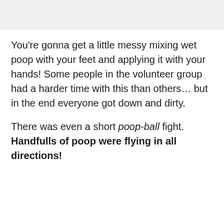[Figure (photo): Gray banner/image area at top of page]
You're gonna get a little messy mixing wet poop with your feet and applying it with your hands! Some people in the volunteer group had a harder time with this than others… but in the end everyone got down and dirty.
There was even a short poop-ball fight. Handfulls of poop were flying in all directions!
[Figure (photo): Photo of a bald man smiling in front of a stone wall with machinery, partially visible at bottom of page]